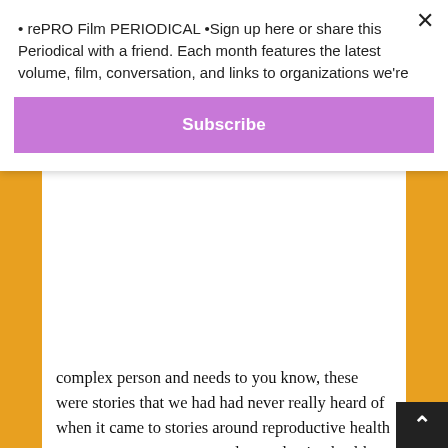• rePRO Film PERIODICAL •Sign up here or share this Periodical with a friend. Each month features the latest volume, film, conversation, and links to organizations we're
Subscribe
complex person and needs to you know, these were stories that we had had never really heard of when it came to stories around reproductive health care or news reports around reproductive health care. We kind of just saw the more reductive reports around this area.
We didn't really get to hear from people who are like the three of them. And we also saw that a lot of abortion films were documentaries about abortion that do a